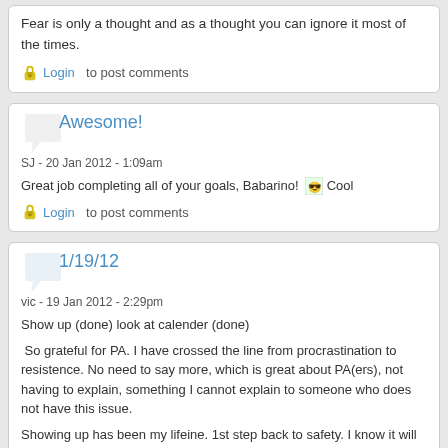Fear is only a thought and as a thought you can ignore it most of the times.
Login  to post comments
Awesome!
SJ - 20 Jan 2012 - 1:09am
Great job completing all of your goals, Babarino! Cool
Login  to post comments
1/19/12
vic - 19 Jan 2012 - 2:29pm
Show up (done) look at calender (done)
So grateful for PA. I have crossed the line from procrastination to resistence. No need to say more, which is great about PA(ers), not having to explain, something I cannot explain to someone who does not have this issue.
Showing up has been my lifeine. 1st step back to safety. I know it will take more work than usual to get out of the resistence, but I